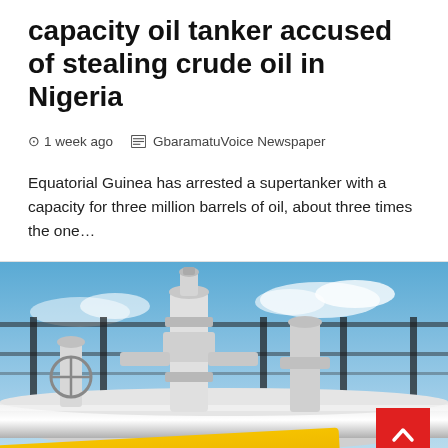capacity oil tanker accused of stealing crude oil in Nigeria
1 week ago   GbaramatuVoice Newspaper
Equatorial Guinea has arrested a supertanker with a capacity for three million barrels of oil, about three times the one...
[Figure (photo): Photo of oil tanker pipeline equipment with valves and pipes against a blue sky, with a yellow 'CRUDE OIL' sign with arrow in the foreground, and a red back-to-top button overlay.]